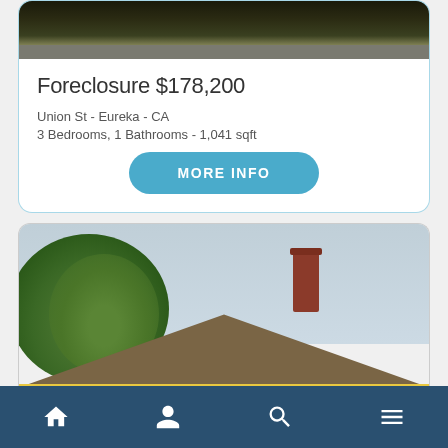[Figure (photo): Top portion of a foreclosure listing card showing a dark street-level photo with greenery and road]
Foreclosure $178,200
Union St - Eureka - CA
3 Bedrooms, 1 Bathrooms - 1,041 sqft
MORE INFO
[Figure (photo): Exterior photo of a house showing the roof with brown shingles, a red brick chimney, green trees on the left, and a yellow wall at the bottom, with a cloudy sky]
Home | Profile | Search | Menu